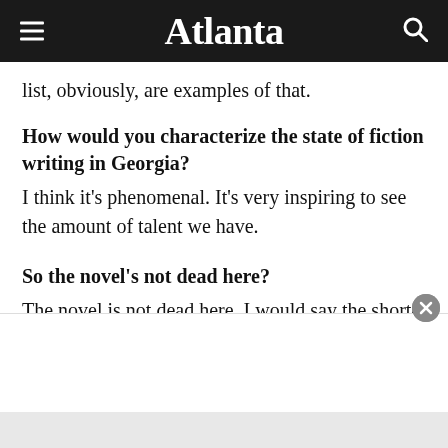Atlanta
list, obviously, are examples of that.
How would you characterize the state of fiction writing in Georgia?
I think it's phenomenal. It's very inspiring to see the amount of talent we have.
So the novel's not dead here?
The novel is not dead here. I would say the short-story collection is alive and kicking in Georgia too.